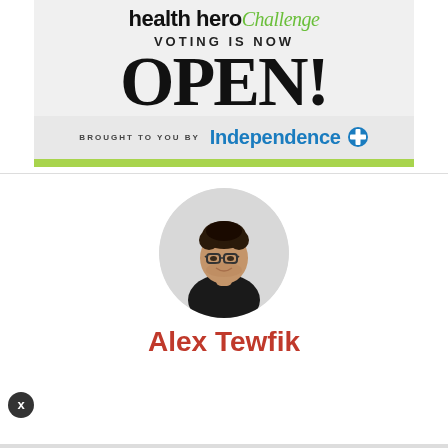[Figure (infographic): Health Hero Challenge banner. Text reads: 'health hero Challenge' at top, 'VOTING IS NOW', 'OPEN!' in large bold text, 'BROUGHT TO YOU BY Independence Blue Cross' logo, with green bar at bottom.]
[Figure (photo): Circular profile photo of Alex Tewfik, a young man with dark hair, glasses, wearing a black shirt.]
Alex Tewfik